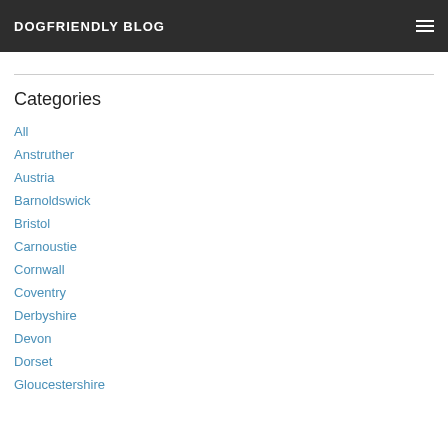DOGFRIENDLY BLOG
Categories
All
Anstruther
Austria
Barnoldswick
Bristol
Carnoustie
Cornwall
Coventry
Derbyshire
Devon
Dorset
Gloucestershire